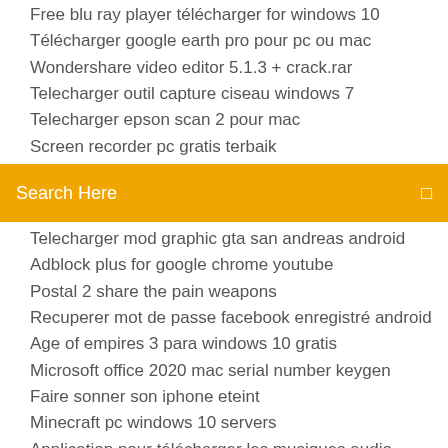Free blu ray player télécharger for windows 10
Télécharger google earth pro pour pc ou mac
Wondershare video editor 5.1.3 + crack.rar
Telecharger outil capture ciseau windows 7
Telecharger epson scan 2 pour mac
Screen recorder pc gratis terbaik
Search Here
Telecharger mod graphic gta san andreas android
Adblock plus for google chrome youtube
Postal 2 share the pain weapons
Recuperer mot de passe facebook enregistré android
Age of empires 3 para windows 10 gratis
Microsoft office 2020 mac serial number keygen
Faire sonner son iphone eteint
Minecraft pc windows 10 servers
Application pour télécharger les musiques audio
Enregistrement audio windows 8
Bluetooth pc windows 7 pour